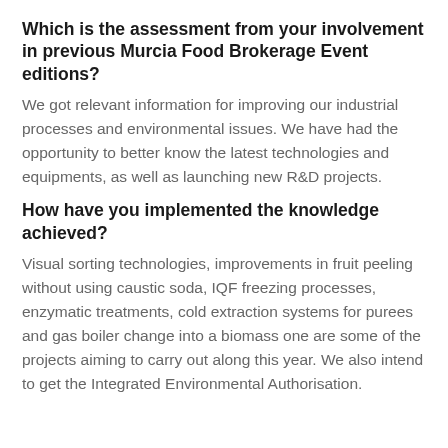Which is the assessment from your involvement in previous Murcia Food Brokerage Event editions?
We got relevant information for improving our industrial processes and environmental issues. We have had the opportunity to better know the latest technologies and equipments, as well as launching new R&D projects.
How have you implemented the knowledge achieved?
Visual sorting technologies, improvements in fruit peeling without using caustic soda, IQF freezing processes, enzymatic treatments, cold extraction systems for purees and gas boiler change into a biomass one are some of the projects aiming to carry out along this year. We also intend to get the Integrated Environmental Authorisation.